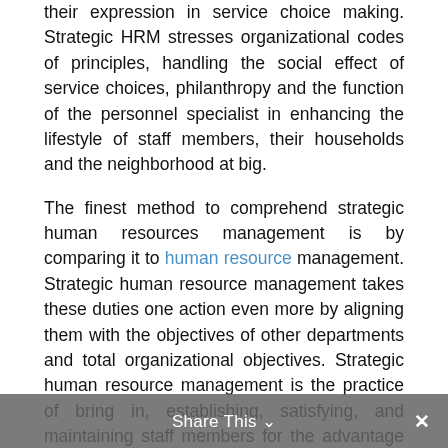their expression in service choice making. Strategic HRM stresses organizational codes of principles, handling the social effect of service choices, philanthropy and the function of the personnel specialist in enhancing the lifestyle of staff members, their households and the neighborhood at big.
The finest method to comprehend strategic human resources management is by comparing it to human resource management. Strategic human resource management takes these duties one action even more by aligning them with the objectives of other departments and total organizational objectives. Strategic human resource management is the practice of bring in, establishing, satisfying, and maintaining staff members for the advantage of both the staff members as people and the company as a whole. HR departments that practice strategic human resource management do not work separately within a silo; they communicate with other departments within a
Share This